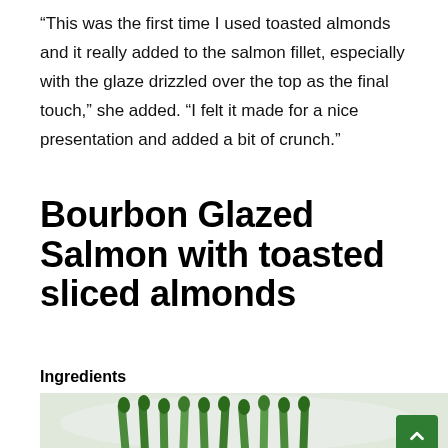“This was the first time I used toasted almonds and it really added to the salmon fillet, especially with the glaze drizzled over the top as the final touch,” she added. “I felt it made for a nice presentation and added a bit of crunch.”
Bourbon Glazed Salmon with toasted sliced almonds
Ingredients
[Figure (photo): Photo of green asparagus on a white plate, partially visible at the bottom of the page]